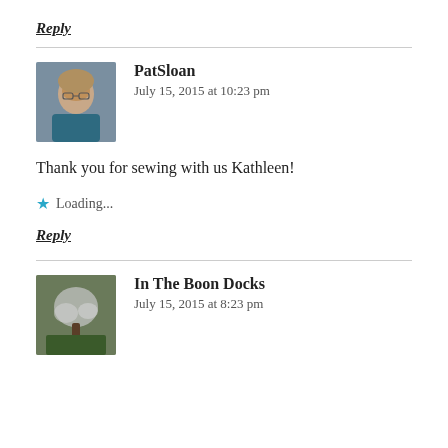Reply
PatSloan
July 15, 2015 at 10:23 pm
Thank you for sewing with us Kathleen!
Loading...
Reply
In The Boon Docks
July 15, 2015 at 8:23 pm